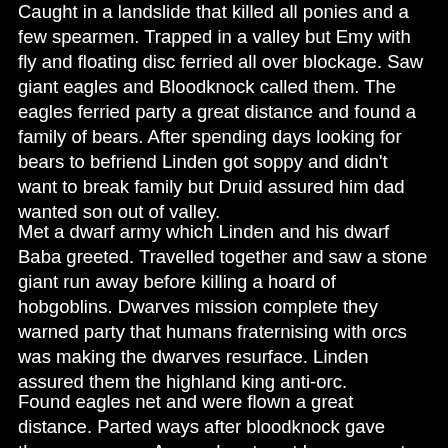Caught in a landslide that killed all ponies and a few spearmen. Trapped in a valley but Emy with fly and floating disc ferried all over blockage. Saw giant eagles and Bloodknock called them. The eagles ferried party a great distance and found a family of bears. After spending days looking for bears to befriend Linden got soppy and didn't want to break family but Druid assured him dad wanted son out of valley.
Met a dwarf army which Linden and his dwarf Baba greeted. Travelled together and saw a stone giant run away before killing a hoard of hobgoblins. Dwarves mission complete they warned party that humans fraternising with orcs was making the dwarves resurface. Linden assured them the highland king anti-orc.
Found eagles net and were flown a great distance. Parted ways after bloodknock gave them sausages. Assured party not human meat.
Found gnoll village mostly depopulated, razed to ground. Emy upset but bloodknock preached about how they would